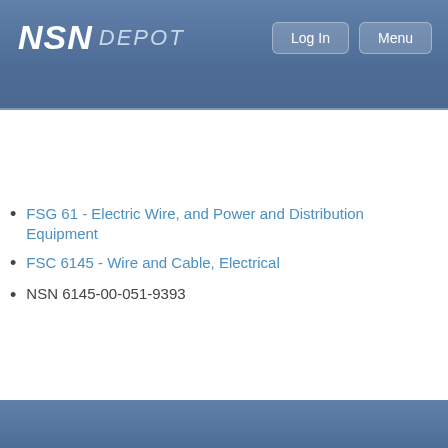NSN DEPOT
Search NSN, NIIN, Part Number or Keywords
FSG 61 - Electric Wire, and Power and Distribution Equipment
FSC 6145 - Wire and Cable, Electrical
NSN 6145-00-051-9393